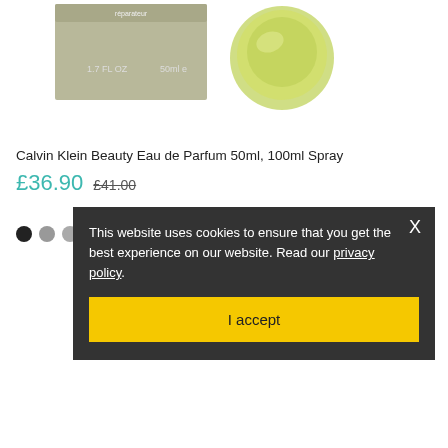[Figure (photo): Product image showing Calvin Klein Beauty perfume box and bottle. The box is olive/khaki colored with '1.7 FL OZ' and '50ml e' text. The bottle is a round green/olive glass bottle.]
Calvin Klein Beauty Eau de Parfum 50ml, 100ml Spray
£36.90  £41.00
This website uses cookies to ensure that you get the best experience on our website. Read our privacy policy.
I accept